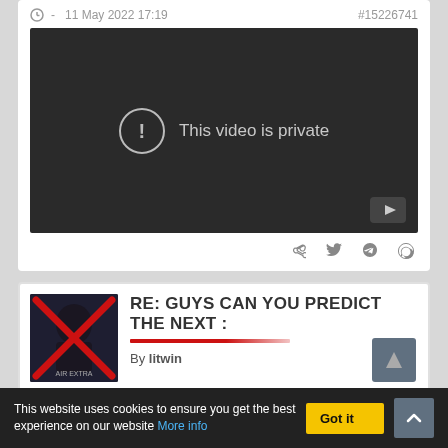- 11 May 2022 17:19   #15226741
[Figure (screenshot): Embedded video player showing 'This video is private' message with exclamation icon on dark background, YouTube logo in bottom-right corner]
Share icons: Facebook, Twitter, Reddit, WhatsApp
RE: GUYS CAN YOU PREDICT THE NEXT :
By litwin
This website uses cookies to ensure you get the best experience on our website More info | Got it